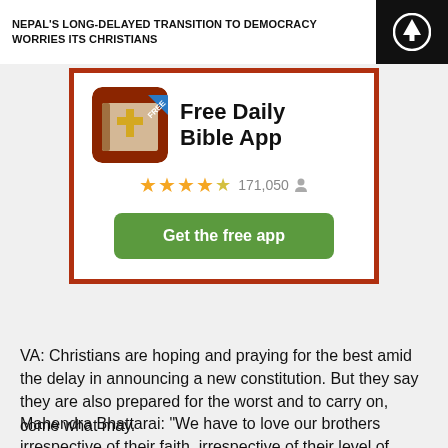NEPAL'S LONG-DELAYED TRANSITION TO DEMOCRACY WORRIES ITS CHRISTIANS
[Figure (screenshot): Advertisement for Free Daily Bible App showing app icon (brown book with gold cross and 'FREE' banner), app title 'Free Daily Bible App', star rating of 4.5 stars with 171,050 ratings, and a green 'Get the free app' button.]
VA: Christians are hoping and praying for the best amid the delay in announcing a new constitution. But they say they are also prepared for the worst and to carry on, come what may.
Mahendra Bhattarai: "We have to love our brothers irrespective of their faith, irrespective of their level of spirituality... because God... and there's only